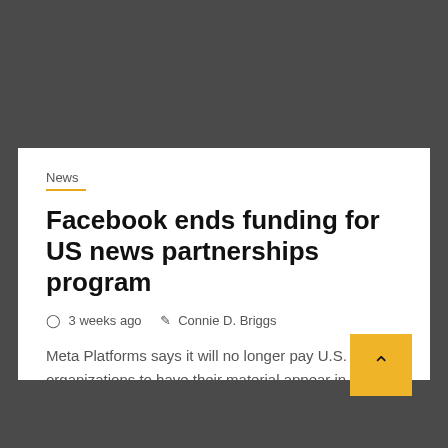[Figure (other): Dark gray banner area at the top of the page]
2 min read
News
Facebook ends funding for US news partnerships program
3 weeks ago  Connie D. Briggs
Meta Platforms says it will no longer pay U.S. news organizations to have their material appear in Facebook's News Tab...
[Figure (other): Dark gray footer bar at the bottom of the page with an up-arrow button in the bottom-right corner]